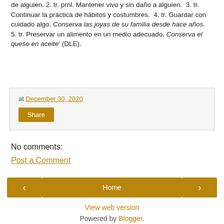de alguien. 2. tr. prnl. Mantener vivo y sin daño a alguien. 3. tr. Continuar la práctica de hábitos y costumbres. 4. tr. Guardar con cuidado algo. Conserva las joyas de su familia desde hace años. 5. tr. Preservar un alimento en un medio adecuado. Conserva el queso en aceite' (DLE).
at December 30, 2020
Share
No comments:
Post a Comment
Home
View web version
Powered by Blogger.